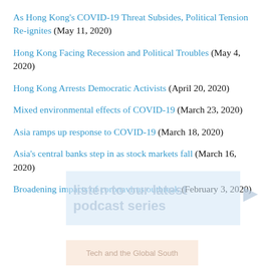As Hong Kong's COVID-19 Threat Subsides, Political Tension Re-ignites (May 11, 2020)
Hong Kong Facing Recession and Political Troubles (May 4, 2020)
Hong Kong Arrests Democratic Activists (April 20, 2020)
Mixed environmental effects of COVID-19 (March 23, 2020)
Asia ramps up response to COVID-19 (March 18, 2020)
Asia's central banks step in as stock markets fall (March 16, 2020)
Broadening impacts of coronavirus outbreak (February 3, 2020)